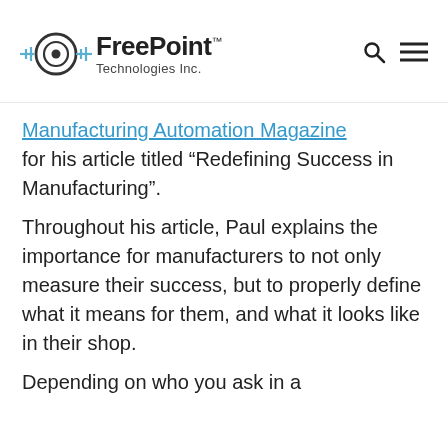FreePoint Technologies Inc.
Manufacturing Automation Magazine for his article titled “Redefining Success in Manufacturing”.
Throughout his article, Paul explains the importance for manufacturers to not only measure their success, but to properly define what it means for them, and what it looks like in their shop.
Depending on who you ask in a